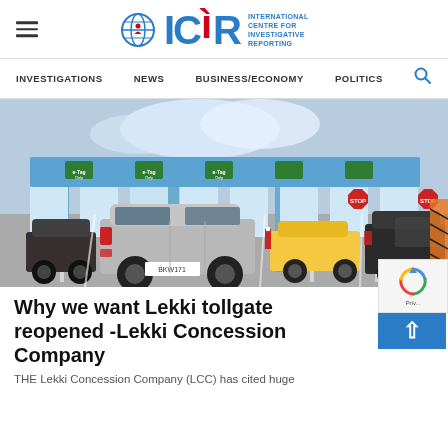ICIR - International Centre for Investigative Reporting
INVESTIGATIONS  NEWS  BUSINESS/ECONOMY  POLITICS
[Figure (photo): Cars queued at the Lekki tollgate in Lagos, Nigeria. A silver SUV is prominent in the foreground approaching the blue-roofed toll plaza with green lane signs.]
Why we want Lekki tollgate reopened -Lekki Concession Company
THE Lekki Concession Company (LCC) has cited huge